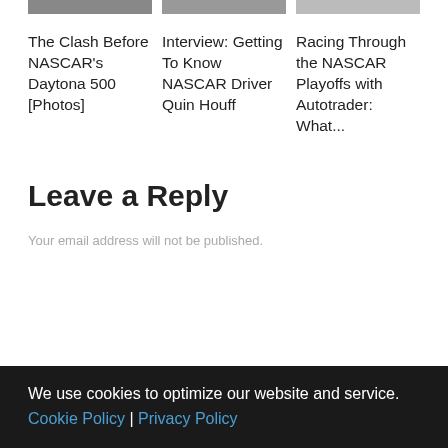[Figure (photo): Three cropped photos in a row showing NASCAR-related scenes]
The Clash Before NASCAR's Daytona 500 [Photos]
Interview: Getting To Know NASCAR Driver Quin Houff
Racing Through the NASCAR Playoffs with Autotrader: What...
Leave a Reply
Your email address will not be published.
We use cookies to optimize our website and service. Cookie Policy | Privacy Policy